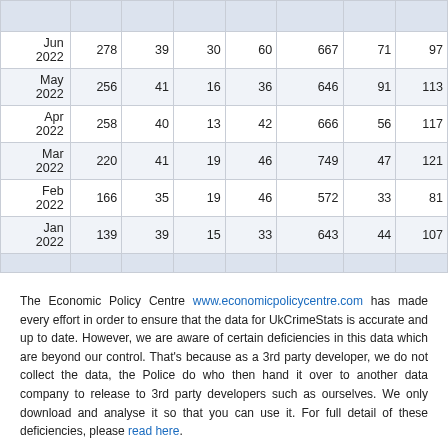|  |  |  |  |  |  |  |  |
| --- | --- | --- | --- | --- | --- | --- | --- |
| Jun 2022 | 278 | 39 | 30 | 60 | 667 | 71 | 97 |
| May 2022 | 256 | 41 | 16 | 36 | 646 | 91 | 113 |
| Apr 2022 | 258 | 40 | 13 | 42 | 666 | 56 | 117 |
| Mar 2022 | 220 | 41 | 19 | 46 | 749 | 47 | 121 |
| Feb 2022 | 166 | 35 | 19 | 46 | 572 | 33 | 81 |
| Jan 2022 | 139 | 39 | 15 | 33 | 643 | 44 | 107 |
The Economic Policy Centre www.economicpolicycentre.com has made every effort in order to ensure that the data for UkCrimeStats is accurate and up to date. However, we are aware of certain deficiencies in this data which are beyond our control. That's because as a 3rd party developer, we do not collect the data, the Police do who then hand it over to another data company to release to 3rd party developers such as ourselves. We only download and analyse it so that you can use it. For full detail of these deficiencies, please read here.